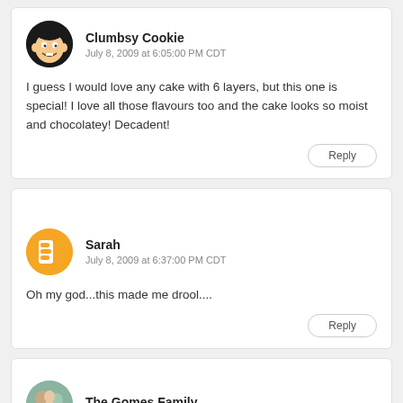Clumbsy Cookie
July 8, 2009 at 6:05:00 PM CDT
I guess I would love any cake with 6 layers, but this one is special! I love all those flavours too and the cake looks so moist and chocolatey! Decadent!
Reply
Sarah
July 8, 2009 at 6:37:00 PM CDT
Oh my god...this made me drool....
Reply
The Gomes Family